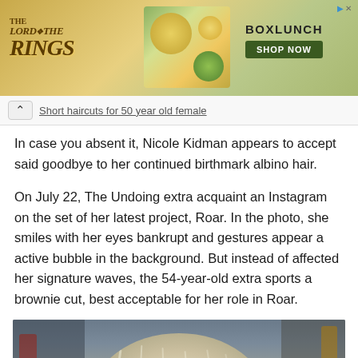[Figure (screenshot): Advertisement banner for BoxLunch featuring Lord of the Rings branding with a Shop Now button]
Short haircuts for 50 year old female
In case you absent it, Nicole Kidman appears to accept said goodbye to her continued birthmark albino hair.
On July 22, The Undoing extra acquaint an Instagram on the set of her latest project, Roar. In the photo, she smiles with her eyes bankrupt and gestures appear a active bubble in the background. But instead of affected her signature waves, the 54-year-old extra sports a brownie cut, best acceptable for her role in Roar.
[Figure (photo): Photo showing back of a person's head with blonde/silver short hair, taken on a set with blurred background]